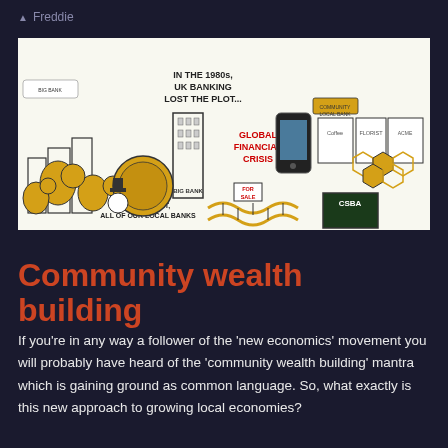Freddie
[Figure (illustration): A comic/infographic illustration about UK banking history and community banking. Features beehive imagery, buildings, the text 'IN THE 1980s UK BANKING LOST THE PLOT...', 'AND WITH IT, ALL OF OUR LOCAL BANKS', 'GLOBAL FINANCIAL CRISIS', imagery of local shops (Coffee, Florist, ACME), a smartphone, honeycomb patterns, a DNA strand, and a CSBA blackboard. Black, white and gold/yellow colour scheme.]
Community wealth building
If you're in any way a follower of the 'new economics' movement you will probably have heard of the 'community wealth building' mantra which is gaining ground as common language. So, what exactly is this new approach to growing local economies?